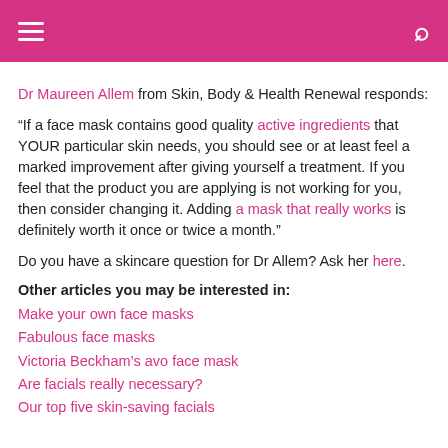Navigation header with hamburger menu and search icon
Dr Maureen Allem from Skin, Body & Health Renewal responds:
“If a face mask contains good quality active ingredients that YOUR particular skin needs, you should see or at least feel a marked improvement after giving yourself a treatment. If you feel that the product you are applying is not working for you, then consider changing it. Adding a mask that really works is definitely worth it once or twice a month.”
Do you have a skincare question for Dr Allem? Ask her here.
Other articles you may be interested in:
Make your own face masks
Fabulous face masks
Victoria Beckham’s avo face mask
Are facials really necessary?
Our top five skin-saving facials